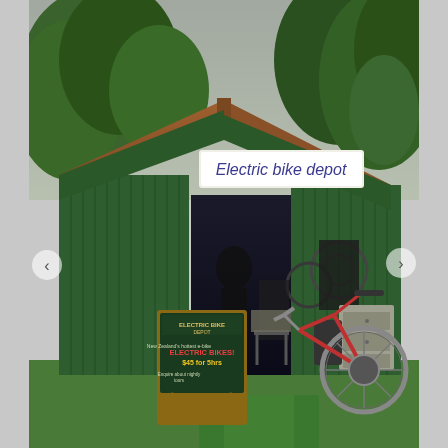[Figure (photo): A green corrugated iron shed functioning as an electric bike depot. The shed has a wooden trim along the roofline and a white sign reading 'Electric bike depot' in blue handwritten-style lettering. The large roller door is open revealing bikes, equipment, and workshop items inside. A chalkboard sandwich sign stands outside on the left with text about electric bike rentals ($45 for 5 hours) and inquire about nightly tours. A bicycle leans against the right side. The background shows lush green trees and overcast sky.]